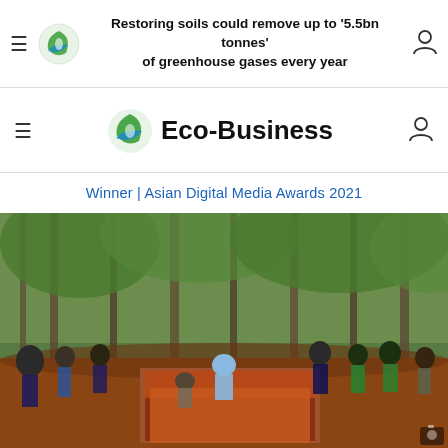Restoring soils could remove up to '5.5bn tonnes' of greenhouse gases every year
Eco-Business
Winner | Asian Digital Media Awards 2021
[Figure (photo): Group of people in a forested area examining a soil pit during what appears to be an outdoor soil science or forestry workshop. Several participants holding papers stand around a large excavated trench showing red clay soil layers, with tall trees in the background.]